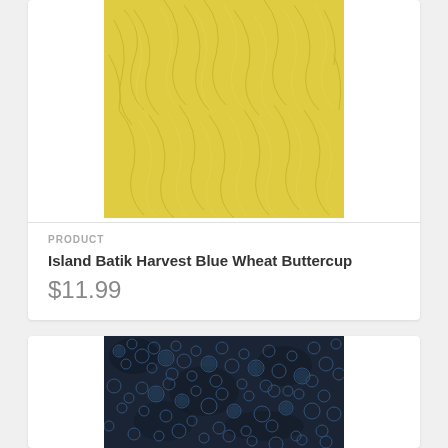[Figure (photo): Yellow batik fabric with leaf/wheat pattern texture]
PRODUCT
Island Batik Harvest Blue Wheat Buttercup
$11.99
[Figure (photo): Dark blue/navy batik fabric with circular pebble pattern texture]